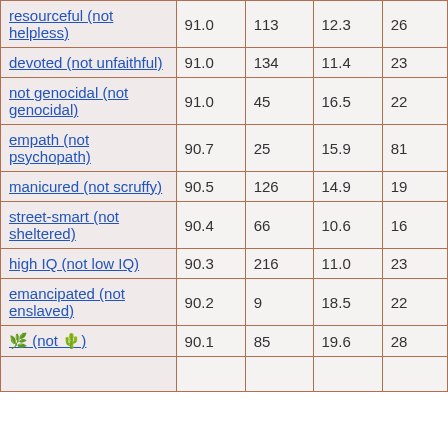| resourceful (not helpless) | 91.0 | 113 | 12.3 | 26 |
| devoted (not unfaithful) | 91.0 | 134 | 11.4 | 23 |
| not genocidal (not genocidal) | 91.0 | 45 | 16.5 | 22 |
| empath (not psychopath) | 90.7 | 25 | 15.9 | 81 |
| manicured (not scruffy) | 90.5 | 126 | 14.9 | 19 |
| street-smart (not sheltered) | 90.4 | 66 | 10.6 | 16 |
| high IQ (not low IQ) | 90.3 | 216 | 11.0 | 23 |
| emancipated (not enslaved) | 90.2 | 9 | 18.5 | 22 |
| 🌿 (not 🌵) | 90.1 | 85 | 19.6 | 28 |